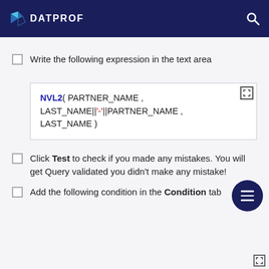DATPROF
Write the following expression in the text area
Click Test to check if you made any mistakes. You will get Query validated you didn't make any mistake!
Add the following condition in the Condition tab